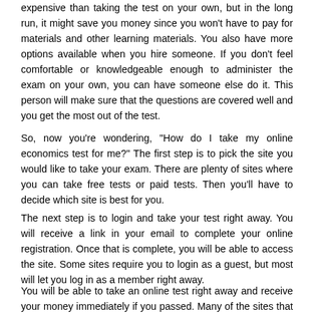expensive than taking the test on your own, but in the long run, it might save you money since you won't have to pay for materials and other learning materials. You also have more options available when you hire someone. If you don't feel comfortable or knowledgeable enough to administer the exam on your own, you can have someone else do it. This person will make sure that the questions are covered well and you get the most out of the test.
So, now you're wondering, "How do I take my online economics test for me?" The first step is to pick the site you would like to take your exam. There are plenty of sites where you can take free tests or paid tests. Then you'll have to decide which site is best for you.
The next step is to login and take your test right away. You will receive a link in your email to complete your online registration. Once that is complete, you will be able to access the site. Some sites require you to login as a guest, but most will let you log in as a member right away.
You will be able to take an online test right away and receive your money immediately if you passed. Many of the sites that will give you money to take an online economics course will send you your check within two